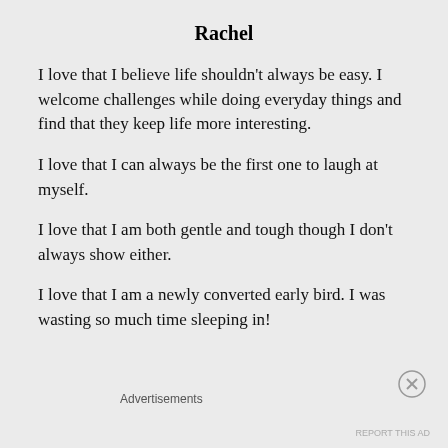Rachel
I love that I believe life shouldn’t always be easy. I welcome challenges while doing everyday things and find that they keep life more interesting.
I love that I can always be the first one to laugh at myself.
I love that I am both gentle and tough though I don’t always show either.
I love that I am a newly converted early bird. I was wasting so much time sleeping in!
Advertisements